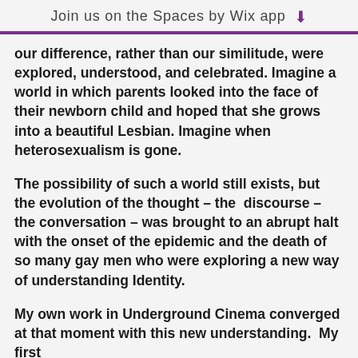Join us on the Spaces by Wix app
our difference, rather than our similitude, were explored, understood, and celebrated. Imagine a world in which parents looked into the face of their newborn child and hoped that she grows into a beautiful Lesbian. Imagine when heterosexualism is gone.
The possibility of such a world still exists, but the evolution of the thought – the discourse – the conversation – was brought to an abrupt halt with the onset of the epidemic and the death of so many gay men who were exploring a new way of understanding Identity.
My own work in Underground Cinema converged at that moment with this new understanding.  My first